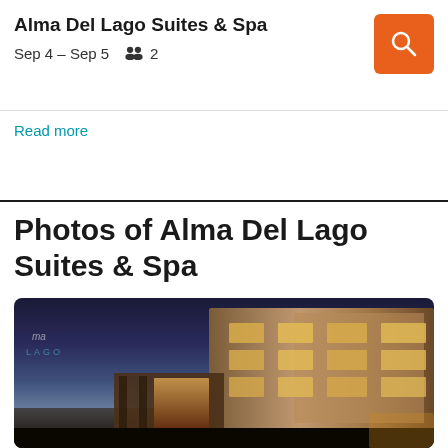Alma Del Lago Suites & Spa
Sep 4 – Sep 5  👥 2
Read more
Photos of Alma Del Lago Suites & Spa
[Figure (photo): Exterior night photo of Alma Del Lago Suites & Spa hotel building with illuminated windows against a dusk sky, with the hotel logo visible in the upper left]